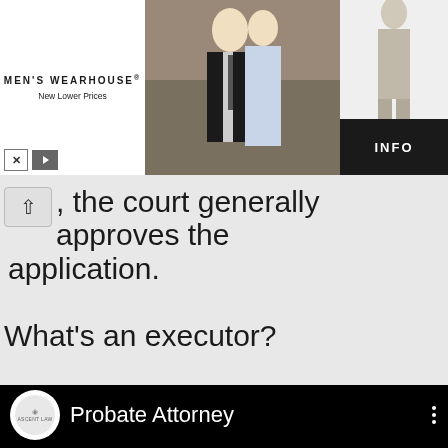[Figure (screenshot): Men's Wearhouse advertisement banner with couple in formal wear and a man in grey suit, with INFO button]
, the court generally approves the application.
What's an executor?
[Figure (screenshot): Embedded video player on black background with Probate Attorney channel logo and name, with three-dot menu icon]